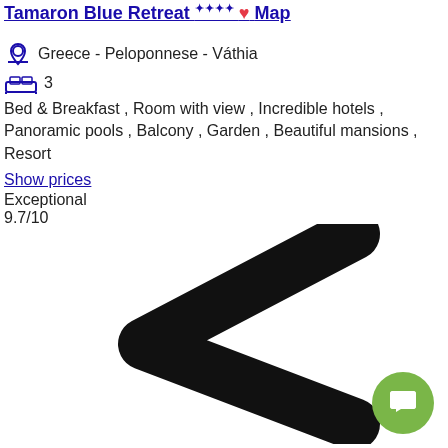Tamaron Blue Retreat ✦✦✦✦ Map
Greece - Peloponnese - Váthia
3
Bed & Breakfast , Room with view , Incredible hotels , Panoramic pools , Balcony , Garden , Beautiful mansions , Resort
Show prices
Exceptional
9.7/10
[Figure (illustration): Large black left-pointing chevron/arrow icon (navigation previous button) on white background]
[Figure (illustration): Green circular chat/messaging button with white speech bubble icon, positioned bottom-right]